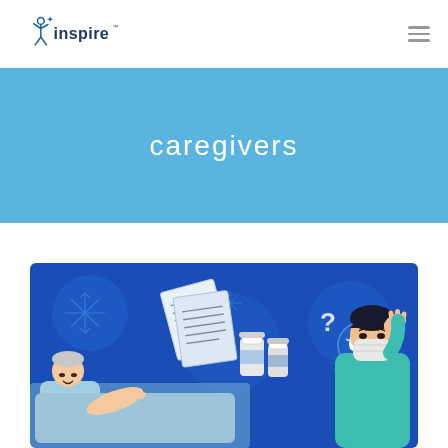[Figure (logo): Inspire logo with stylized human figure and 'inspire' text in dark blue]
caregivers
[Figure (illustration): Illustrated scene on blue background showing a caregiver wearing a mask and surgical scrubs, a patient lying in bed, medical documents, pill bottles, a question mark, and a phone icon — depicting caregiver challenges]